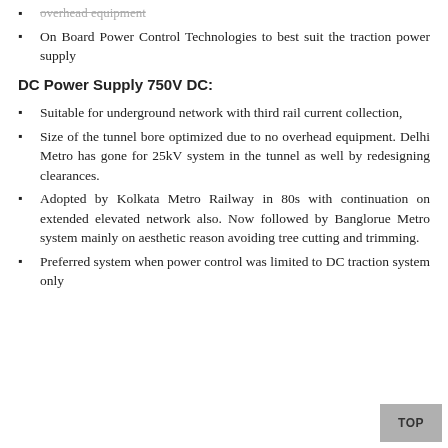overhead equipment
On Board Power Control Technologies to best suit the traction power supply
DC Power Supply 750V DC:
Suitable for underground network with third rail current collection,
Size of the tunnel bore optimized due to no overhead equipment. Delhi Metro has gone for 25kV system in the tunnel as well by redesigning clearances.
Adopted by Kolkata Metro Railway in 80s with continuation on extended elevated network also. Now followed by Banglorue Metro system mainly on aesthetic reason avoiding tree cutting and trimming.
Preferred system when power control was limited to DC traction system only